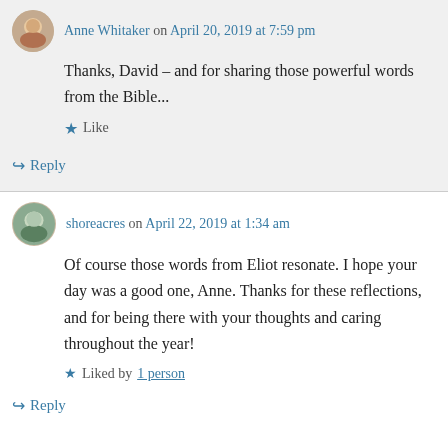Anne Whitaker on April 20, 2019 at 7:59 pm
Thanks, David – and for sharing those powerful words from the Bible...
★ Like
↪ Reply
shoreacres on April 22, 2019 at 1:34 am
Of course those words from Eliot resonate. I hope your day was a good one, Anne. Thanks for these reflections, and for being there with your thoughts and caring throughout the year!
★ Liked by 1 person
↪ Reply